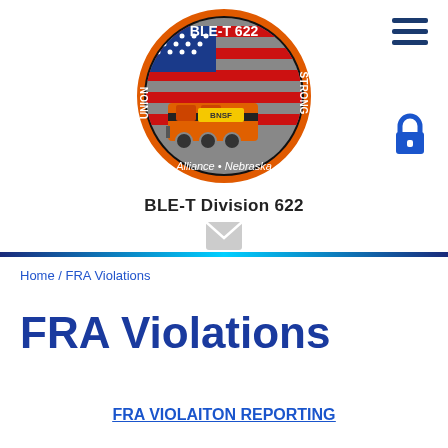[Figure (logo): BLE-T 622 Union Strong Alliance Nebraska circular logo with train and American flag]
BLE-T Division 622
[Figure (illustration): Hamburger menu icon (three horizontal lines)]
[Figure (illustration): Lock icon]
[Figure (illustration): Email envelope icon]
Home / FRA Violations
FRA Violations
FRA VIOLAITON REPORTING